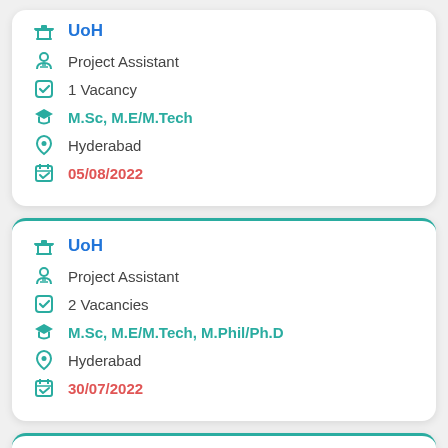UoH | Project Assistant | 1 Vacancy | M.Sc, M.E/M.Tech | Hyderabad | 05/08/2022
UoH | Project Assistant | 2 Vacancies | M.Sc, M.E/M.Tech, M.Phil/Ph.D | Hyderabad | 30/07/2022
UoH